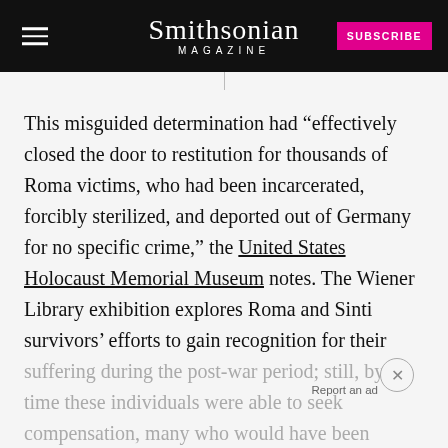Smithsonian MAGAZINE
This misguided determination had “effectively closed the door to restitution for thousands of Roma victims, who had been incarcerated, forcibly sterilized, and deported out of Germany for no specific crime,” the United States Holocaust Memorial Museum notes. The Wiener Library exhibition explores Roma and Sinti survivors’ efforts to gain recognition for their suffering during the post-war period; still, by the time these individuals were able to seek compensation, many who would have been